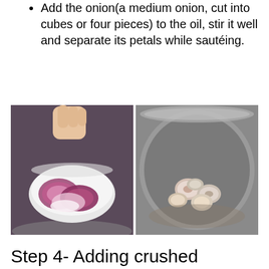Add the onion(a medium onion, cut into cubes or four pieces) to the oil, stir it well and separate its petals while sautéing.
[Figure (photo): Two side-by-side food photos: left shows a hand holding a bowl of cut red onion quarters over a pot; right shows garlic cloves in oil inside a steel pot.]
Step 4- Adding crushed ginger-garlic
After sautéing of onion, add the ginger-